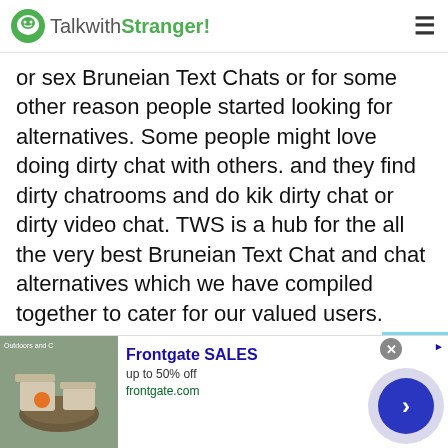TalkwithStranger!
or sex Bruneian Text Chats or for some other reason people started looking for alternatives. Some people might love doing dirty chat with others. and they find dirty chatrooms and do kik dirty chat or dirty video chat. TWS is a hub for the all the very best Bruneian Text Chat and chat alternatives which we have compiled together to cater for our valued users.
Bruneian Text Chat - Quickest Way to Make
[Figure (screenshot): Advertisement banner for Frontgate SALES showing outdoor furniture, up to 50% off, frontgate.com, with navigation circle button]